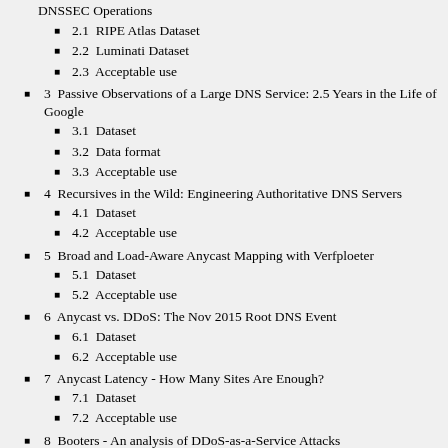DNSSEC Operations
2.1  RIPE Atlas Dataset
2.2  Luminati Dataset
2.3  Acceptable use
3  Passive Observations of a Large DNS Service: 2.5 Years in the Life of Google
3.1  Dataset
3.2  Data format
3.3  Acceptable use
4  Recursives in the Wild: Engineering Authoritative DNS Servers
4.1  Dataset
4.2  Acceptable use
5  Broad and Load-Aware Anycast Mapping with Verfploeter
5.1  Dataset
5.2  Acceptable use
6  Anycast vs. DDoS: The Nov 2015 Root DNS Event
6.1  Dataset
6.2  Acceptable use
7  Anycast Latency - How Many Sites Are Enough?
7.1  Dataset
7.2  Acceptable use
8  Booters - An analysis of DDoS-as-a-Service Attacks
8.1  Datasets for Booter attacks
8.2  Acceptable use